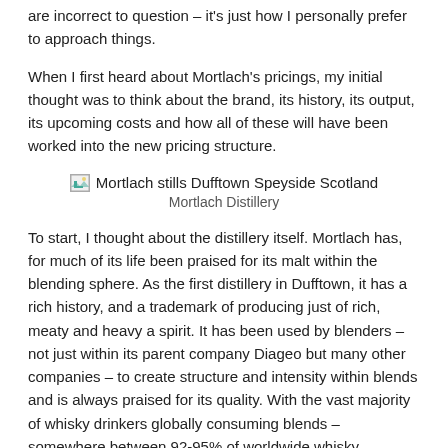are incorrect to question – it's just how I personally prefer to approach things.
When I first heard about Mortlach's pricings, my initial thought was to think about the brand, its history, its output, its upcoming costs and how all of these will have been worked into the new pricing structure.
[Figure (photo): Image placeholder showing Mortlach stills Dufftown Speyside Scotland with caption 'Mortlach Distillery']
Mortlach Distillery
To start, I thought about the distillery itself. Mortlach has, for much of its life been praised for its malt within the blending sphere. As the first distillery in Dufftown, it has a rich history, and a trademark of producing just of rich, meaty and heavy a spirit. It has been used by blenders – not just within its parent company Diageo but many other companies – to create structure and intensity within blends and is always praised for its quality. With the vast majority of whisky drinkers globally consuming blends – somewhere between 92-95% of worldwide whisky consumption – it's easy to do the maths and realise if Mortlach has, for decades, been seen as an integral part in blending, then there will not be unending stocks for use in single malt.